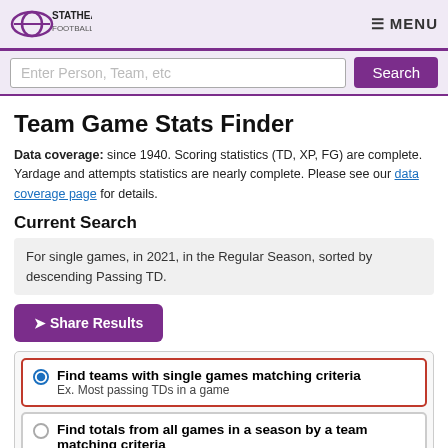STATHEAD FOOTBALL | MENU
Enter Person, Team, etc | Search
Team Game Stats Finder
Data coverage: since 1940. Scoring statistics (TD, XP, FG) are complete. Yardage and attempts statistics are nearly complete. Please see our data coverage page for details.
Current Search
For single games, in 2021, in the Regular Season, sorted by descending Passing TD.
➤ Share Results
Find teams with single games matching criteria
Ex. Most passing TDs in a game
Find totals from all games in a season by a team matching criteria